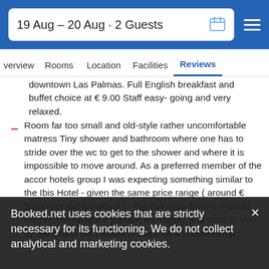19 Aug – 20 Aug · 2 Guests
Overview  Rooms  Location  Facilities  Reviews
downtown Las Palmas. Full English breakfast and buffet choice at € 9.00 Staff easy- going and very relaxed.
Room far too small and old-style rather uncomfortable matress Tiny shower and bathroom where one has to stride over the wc to get to the shower and where it is impossible to move around. As a preferred member of the accor hotels group I was expecting something similar to the Ibis Hotel - given the same price range ( around € 50.00 not incl breakfast ) - but this is far from it. I would only recommend it if you are on holiday and want to stay by the beach but I wouldn't use it on a business trip.
United States of America, september 2016
Very good
The staff were very helpful and attentive. Excellent options for breakfast
United States of America, september 2016
Booked.net uses cookies that are strictly necessary for its functioning. We do not collect analytical and marketing cookies.